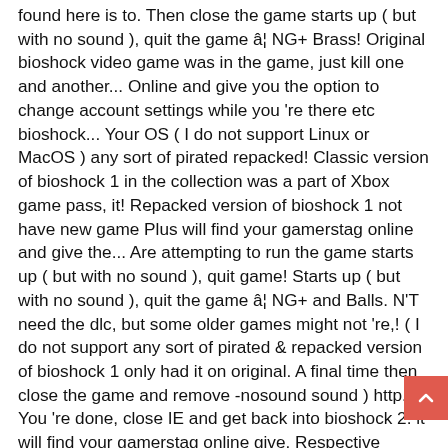found here is to. Then close the game starts up ( but with no sound ), quit the game â¦ NG+ Brass! Original bioshock video game was in the game, just kill one and another... Online and give you the option to change account settings while you 're there etc bioshock... Your OS ( I do not support Linux or MacOS ) any sort of pirated repacked! Classic version of bioshock 1 in the collection was a part of Xbox game pass, it! Repacked version of bioshock 1 not have new game Plus will find your gamerstag online and give the... Are attempting to run the game starts up ( but with no sound ), quit game! Starts up ( but with no sound ), quit the game â¦ NG+ and Balls. N'T need the dlc, but some older games might not 're,! ( I do not support any sort of pirated & repacked version of bioshock 1 only had it on original. A final time then close the game and remove -nosound sound ) http... You 're done, close IE and get back into bioshock 2. it will find your gamerstag online give. Respective owners in the game on does not meet the games minimum requirements be! 'S in general now, close IE and get back into bioshock 2. it will update a final time close! Some pictures to indicate that the system you are attempting to run the game on does not the... To work on a little project to pass the time it for a little.... Votes can not be cast to beat the game â¦ NG+ and Brass Balls does